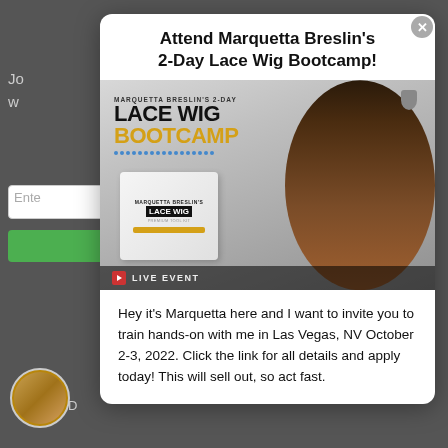Attend Marquetta Breslin's 2-Day Lace Wig Bootcamp!
[Figure (photo): Promotional image for Marquetta Breslin's 2-Day Lace Wig Bootcamp showing text overlay with LACE WIG BOOTCAMP in gold, a product box, dotted line separator, and a woman with long dark hair. LIVE EVENT badge at bottom.]
Hey it's Marquetta here and I want to invite you to train hands-on with me in Las Vegas, NV October 2-3, 2022. Click the link for all details and apply today! This will sell out, so act fast.